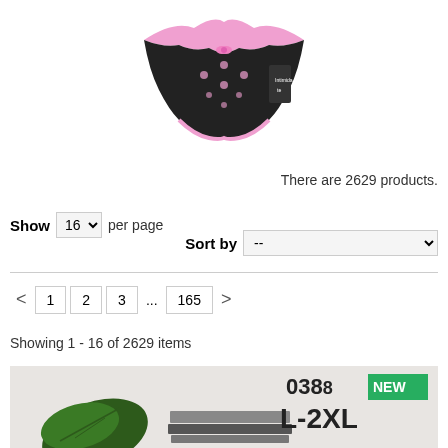[Figure (photo): Black underwear with pink lace trim and pink bow, displayed on white background with a price tag]
There are 2629 products.
Show 16 per page
Sort by --
< 1 2 3 ... 165 >
Showing 1 - 16 of 2629 items
[Figure (photo): Product card showing underwear with tropical leaf decoration, labeled 0388, L-2XL, NEW badge in green]